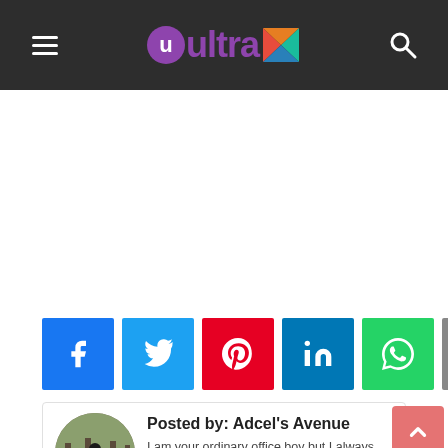Ultra — site header with hamburger menu, logo, and search icon
[Figure (other): Empty white advertisement/content area]
[Figure (infographic): Social share buttons: Facebook, Twitter, Pinterest, LinkedIn, WhatsApp, Email]
Posted by: Adcel's Avenue
I am your ordinary office boy but I always find time to be Out of Office and explore the